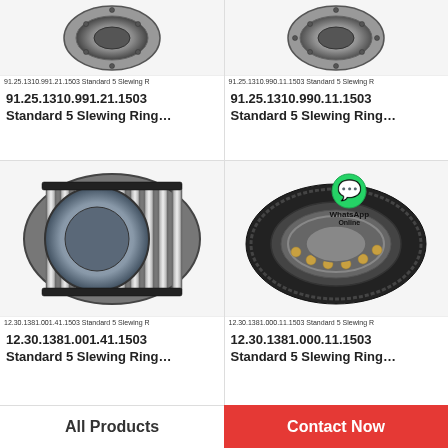[Figure (photo): Slewing ring bearing product photo - 91.25.1310.991.21.1503]
91.25.1310.991.21.1503 Standard 5 Slewing R
91.25.1310.991.21.1503 Standard 5 Slewing Ring…
[Figure (photo): Slewing ring bearing product photo - 91.25.1310.990.11.1503]
91.25.1310.990.11.1503 Standard 5 Slewing R
91.25.1310.990.11.1503 Standard 5 Slewing Ring…
[Figure (photo): Cylindrical roller bearing product photo - 12.30.1381.001.41.1503]
12.30.1381.001.41.1503 Standard 5 Slewing R
12.30.1381.001.41.1503 Standard 5 Slewing Ring…
[Figure (photo): Slewing ring with WhatsApp Online contact overlay - 12.30.1381.000.11.1503]
12.30.1381.000.11.1503 Standard 5 Slewing R
12.30.1381.000.11.1503 Standard 5 Slewing Ring…
All Products
Contact Now